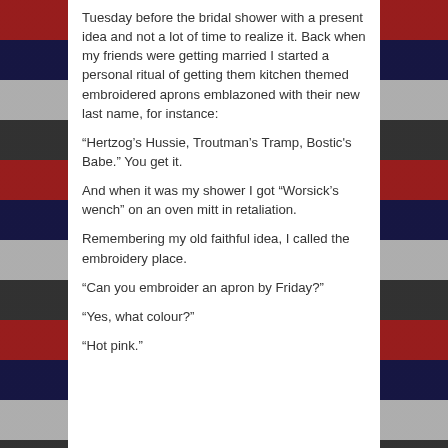Tuesday before the bridal shower with a present idea and not a lot of time to realize it. Back when my friends were getting married I started a personal ritual of getting them kitchen themed embroidered aprons emblazoned with their new last name, for instance:
“Hertzog’s Hussie, Troutman’s Tramp, Bostic's Babe.” You get it.
And when it was my shower I got “Worsick’s wench” on an oven mitt in retaliation.
Remembering my old faithful idea, I called the embroidery place.
“Can you embroider an apron by Friday?”
“Yes, what colour?”
“Hot pink.”